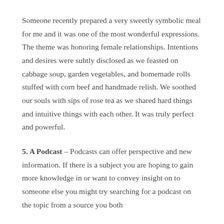Someone recently prepared a very sweetly symbolic meal for me and it was one of the most wonderful expressions. The theme was honoring female relationships. Intentions and desires were subtly disclosed as we feasted on cabbage soup, garden vegetables, and homemade rolls stuffed with corn beef and handmade relish. We soothed our souls with sips of rose tea as we shared hard things and intuitive things with each other. It was truly perfect and powerful.
5. A Podcast – Podcasts can offer perspective and new information. If there is a subject you are hoping to gain more knowledge in or want to convey insight on to someone else you might try searching for a podcast on the topic from a source you both